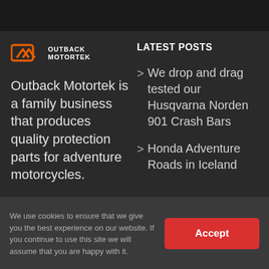[Figure (logo): Outback Motortek logo with orange graphic icon and white uppercase text]
Outback Motortek is a family business that produces quality protection parts for adventure motorcycles.
LATEST POSTS
We drop and drag tested our Husqvarna Norden 901 Crash Bars
Honda Adventure Roads in Iceland
We use cookies to ensure that we give you the best experience on our website. If you continue to use this site we will assume that you are happy with it.